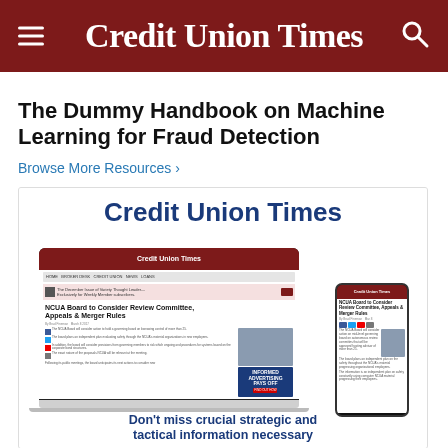Credit Union Times
The Dummy Handbook on Machine Learning for Fraud Detection
Browse More Resources ›
[Figure (screenshot): Credit Union Times advertisement showing the website on a laptop and mobile phone. The ad header says 'Credit Union Times' in bold blue text. The screen shows an article headline 'NCUA Board to Consider Review Committee, Appeals & Merger Rules'. The ad contains text 'Don't miss crucial strategic and tactical information necessary']